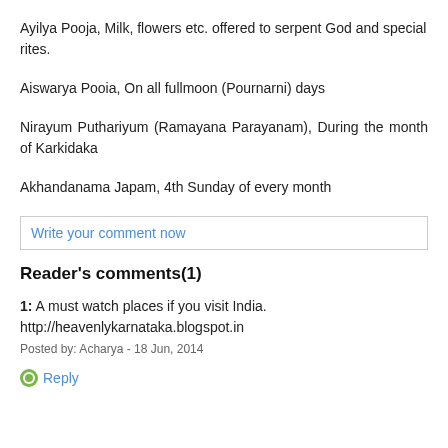Ayilya Pooja, Milk, flowers etc. offered to serpent God and special rites.
Aiswarya Pooia, On all fullmoon (Pournarni) days
Nirayum Puthariyum (Ramayana Parayanam), During the month of Karkidaka
Akhandanama Japam, 4th Sunday of every month
Write your comment now
Reader's comments(1)
1: A must watch places if you visit India. http://heavenlykarnataka.blogspot.in
Posted by: Acharya - 18 Jun, 2014
Reply